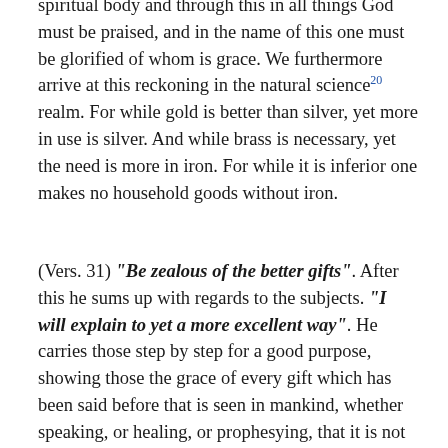spiritual body and through this in all things God must be praised, and in the name of this one must be glorified of whom is grace. We furthermore arrive at this reckoning in the natural science²° realm. For while gold is better than silver, yet more in use is silver. And while brass is necessary, yet the need is more in iron. For while it is inferior one makes no household goods without iron.
(Vers. 31) “Be zealous of the better gifts”. After this he sums up with regards to the subjects. “I will explain to yet a more excellent way”. He carries those step by step for a good purpose, showing those the grace of every gift which has been said before that is seen in mankind, whether speaking, or healing, or prophesying, that it is not to be related to the person’s merit, but to the honouring of God.